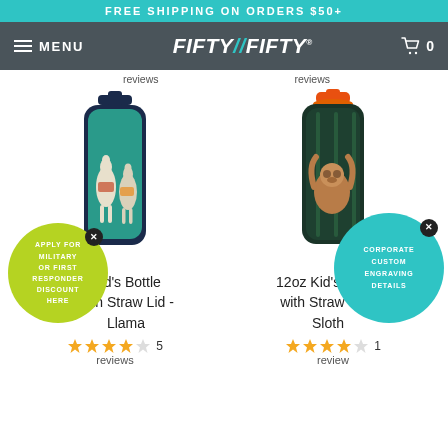FREE SHIPPING ON ORDERS $50+
MENU  FIFTY/FIFTY  0
reviews  reviews
[Figure (photo): Kid's insulated water bottle with llama design, navy/teal color with dark navy handle lid]
[Figure (photo): 12oz Kid's bottle with sloth design, dark green/teal with orange lid]
Kid's Bottle with Straw Lid - Llama
12oz Kid's Bottle with Straw Lid - Sloth
5 reviews
1 review
APPLY FOR MILITARY OR FIRST RESPONDER DISCOUNT HERE
CORPORATE CUSTOM ENGRAVING DETAILS